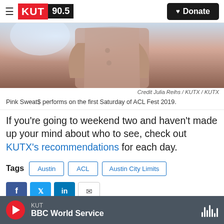KUT 90.5 | Donate
[Figure (photo): Person performing on stage at ACL Fest 2019, wearing pink/salmon colored outfit, cropped view of torso]
Credit Julia Reihs / KUTX / KUTX
Pink Sweat$ performs on the first Saturday of ACL Fest 2019.
If you're going to weekend two and haven't made up your mind about who to see, check out KUTX's recommendations for each day.
Tags  Austin  ACL  Austin City Limits
KUT | BBC World Service